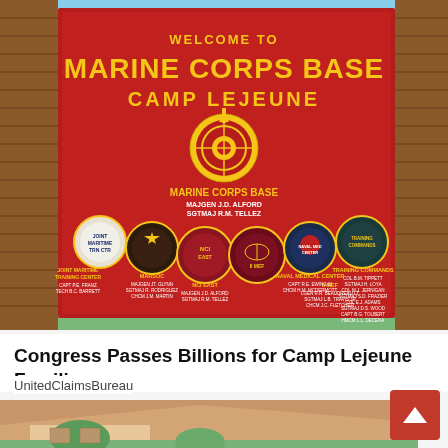[Figure (photo): Photograph of the Welcome to Marine Corps Base Camp Lejeune sign — a large red sign with gold lettering showing base name, command seals (MARSOC, NCI East, II MEF, Naval Medical Center, Training Commands), and military emblems. Brick columns visible on sides with trees and sky in background.]
Congress Passes Billions for Camp Lejeune Families
UnitedClaimsBureau
[Figure (illustration): Partial view of an illustrated/cartoon-style building exterior, showing roofline and walls in warm tan and green tones.]